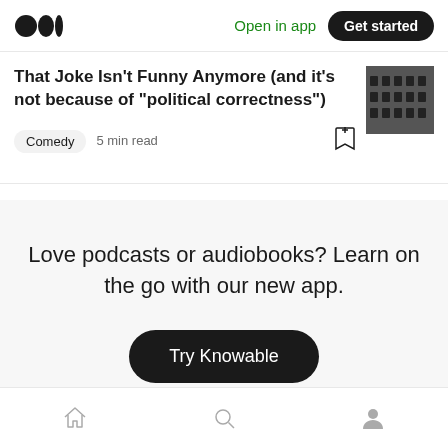Medium logo | Open in app | Get started
That Joke Isn't Funny Anymore (and it's not because of “political correctness”)
Comedy  5 min read
Love podcasts or audiobooks? Learn on the go with our new app.
Try Knowable
Home | Search | Profile